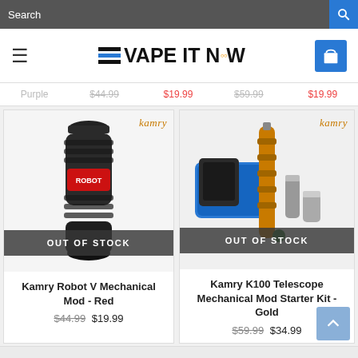VAPE IT NOW - online vape store header with navigation
[Figure (photo): Kamry Robot V Mechanical Mod - Red product photo, black cylindrical mod with red accent, OUT OF STOCK banner overlay]
Kamry Robot V Mechanical Mod - Red
$44.99 $19.99
[Figure (photo): Kamry K100 Telescope Mechanical Mod Starter Kit - Gold product photo showing gold telescoping mod with blue carrying case and accessories, OUT OF STOCK banner overlay]
Kamry K100 Telescope Mechanical Mod Starter Kit - Gold
$59.99 $34.99